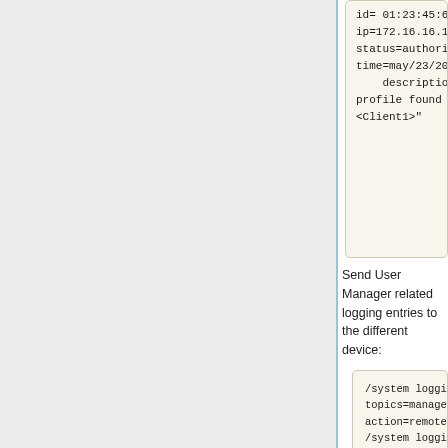[Figure (screenshot): Code block showing authorization failure log entry with id, host ip, status, time, and description fields]
Send User Manager related logging entries to the different device:
[Figure (screenshot): Code block showing /system logging add commands with topics=manager,account action=remote and /system logging action set remote target=remote remote=192.168.88.1:514]
Session
Sub-menu: /tool user-manager session
A session refers to a period when a user is